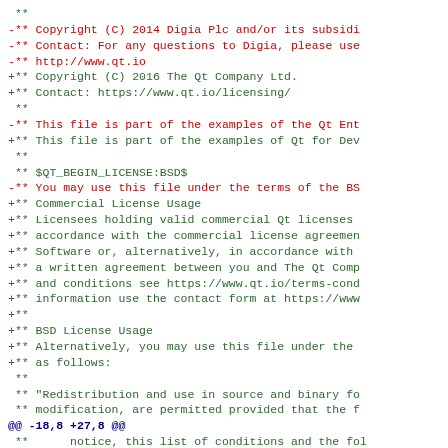diff/patch code block showing a license header update from Digia Plc (2014) to The Qt Company Ltd (2016), including changes from BSD license terms to Commercial and BSD License Usage sections, with a hunk header @@ -18,8 +27,8 @@